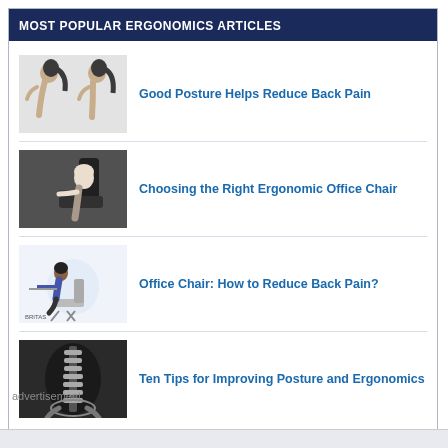MOST POPULAR ERGONOMICS ARTICLES
[Figure (photo): Two women showing posture comparison side by side]
Good Posture Helps Reduce Back Pain
[Figure (photo): Person sitting in ergonomic office chair, side view]
Choosing the Right Ergonomic Office Chair
[Figure (photo): Illustration of person sitting at desk with proper ergonomic posture, BRITAS branding]
Office Chair: How to Reduce Back Pain?
[Figure (photo): X-ray style image of spine and lower body]
Ten Tips for Improving Posture and Ergonomics
advertisement